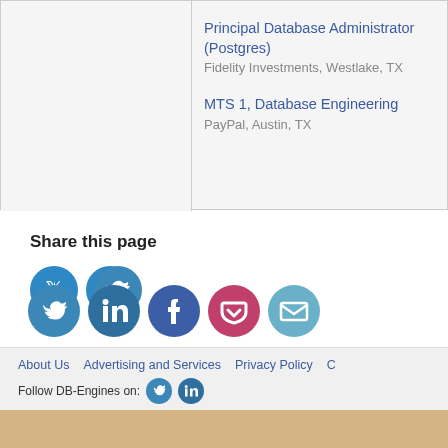Principal Database Administrator (Postgres)
Fidelity Investments, Westlake, TX
MTS 1, Database Engineering
PayPal, Austin, TX
Share this page
[Figure (other): Social share icons: Twitter, LinkedIn, Facebook, Pocket, Email]
About Us   Advertising and Services   Privacy Policy   C
Follow DB-Engines on: [Twitter] [LinkedIn]